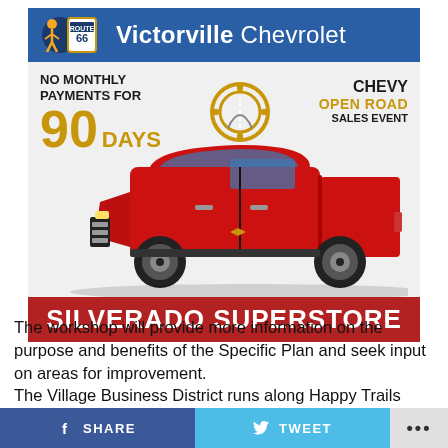[Figure (logo): Victorville Chevrolet advertisement banner with Route 66 shield logo, blue header bar with 'Victorville Chevrolet' text, Chevy Open Road Sales Event promotion with '90 DAYS' no monthly payments, red Chevrolet Silverado truck image, and 'SILVERADO SUPERSTORE' red bar]
The workshop will provide more information on the purpose and benefits of the Specific Plan and seek input on areas for improvement.
The Village Business District runs along Happy Trails Highway 18 and is bounded by Navajo Road to the west
SHARE   TWEET   ...